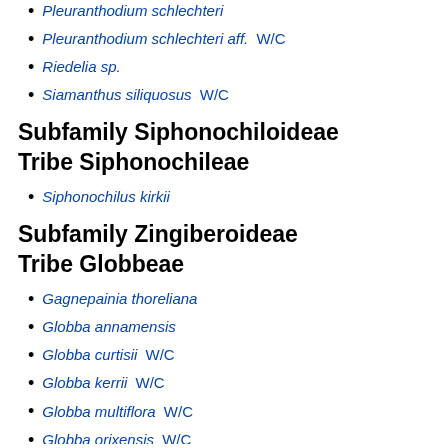Pleuranthodium schlechteri 📷 🌐
Pleuranthodium schlechteri aff. W/C 🌐
Riedelia sp.
Siamanthus siliquosus W/C 📷 🌐
Subfamily Siphonochiloideae Tribe Siphonochileae
Siphonochilus kirkii 📷 🌐
Subfamily Zingiberoideae Tribe Globbeae
Gagnepainia thoreliana 📷 🌐
Globba annamensis 📷 🌐
Globba curtisii W/C 📷 🌐
Globba kerrii W/C 📷 🌐
Globba multiflora W/C 🌐
Globba orixensis W/C 📷 🌐
Globba patens W/C 🌐
Globba radicalis W/C 📷 🌐
Globba schomburgkii W/C 📷 🌐
Globba unifolia 📷 🌐
Globba arracanensis W/C 📷 🌐